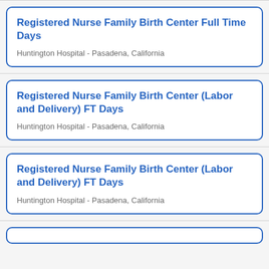Registered Nurse Family Birth Center Full Time Days
Huntington Hospital - Pasadena, California
Registered Nurse Family Birth Center (Labor and Delivery) FT Days
Huntington Hospital - Pasadena, California
Registered Nurse Family Birth Center (Labor and Delivery) FT Days
Huntington Hospital - Pasadena, California